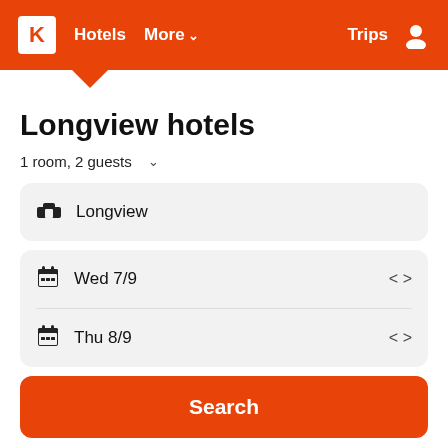Hotels  More  Trips
Longview hotels
1 room, 2 guests
Longview
Wed 7/9
Thu 8/9
Search
Search hundreds of travel sites at once for hotels in